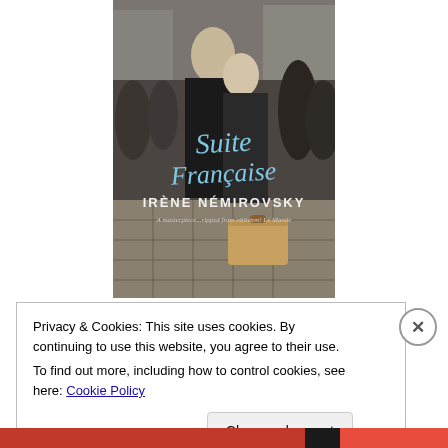[Figure (photo): Book cover of 'Suite Française' by Irène Némirovsky. Shows a couple in dark coats embracing on a stone street surrounded by other people, with a tan suitcase at their feet. The title 'Suite Française' is written in blue cursive script, and the author name 'IRÈNE NÉMIROVSKY' is in capital serif letters. A quote reads 'A masterpiece...ripped from oblivion! Le Monde'.]
Privacy & Cookies: This site uses cookies. By continuing to use this website, you agree to their use.
To find out more, including how to control cookies, see here: Cookie Policy